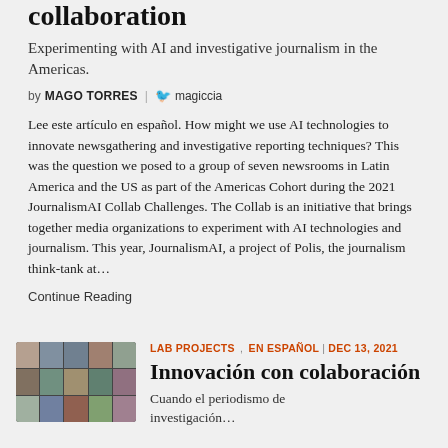collaboration
Experimenting with AI and investigative journalism in the Americas.
by MAGO TORRES | @magiccia
Lee este artículo en español. How might we use AI technologies to innovate newsgathering and investigative reporting techniques? This was the question we posed to a group of seven newsrooms in Latin America and the US as part of the Americas Cohort during the 2021 JournalismAI Collab Challenges. The Collab is an initiative that brings together media organizations to experiment with AI technologies and journalism. This year, JournalismAI, a project of Polis, the journalism think-tank at…
Continue Reading
[Figure (photo): Grid of video call thumbnails showing multiple people in small squares, like a group video conference screenshot]
LAB PROJECTS , EN ESPAÑOL | DEC 13, 2021
Innovación con colaboración
Cuando el periodismo de investigación…